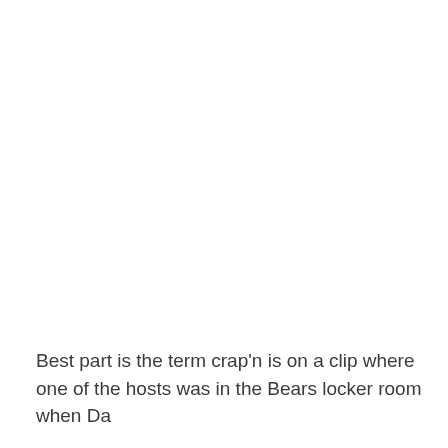Best part is the term crap'n is on a clip where one of the hosts was in the Bears locker room when Da